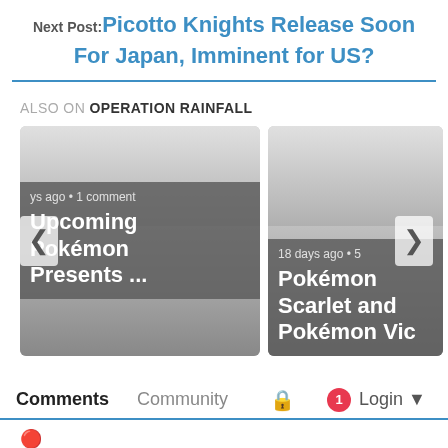Next Post: Picotto Knights Release Soon For Japan, Imminent for US?
[Figure (screenshot): Two article cards for 'Upcoming Pokémon Presents ...' and 'Pokémon Scarlet and Pokémon Vic...' with navigation arrows, displayed in a carousel widget under an 'ALSO ON OPERATION RAINFALL' header]
Comments  Community  🔒  1  Login
Sort by Oldest